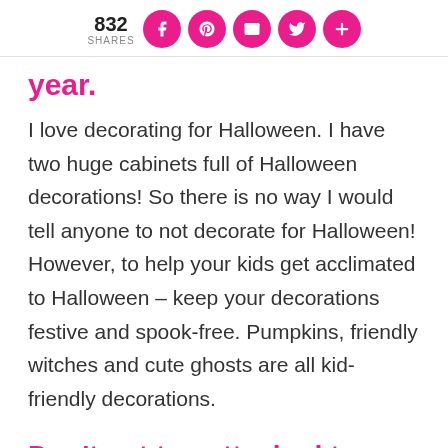832 SHARES
year.
I love decorating for Halloween. I have two huge cabinets full of Halloween decorations! So there is no way I would tell anyone to not decorate for Halloween! However, to help your kids get acclimated to Halloween – keep your decorations festive and spook-free. Pumpkins, friendly witches and cute ghosts are all kid-friendly decorations.
Don't get too attached to those cute